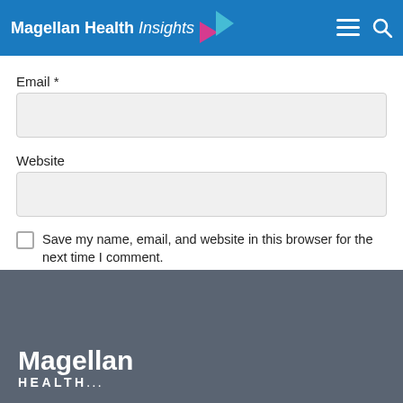Magellan Health Insights
Email *
Website
Save my name, email, and website in this browser for the next time I comment.
POST COMMENT
Magellan HEALTH...